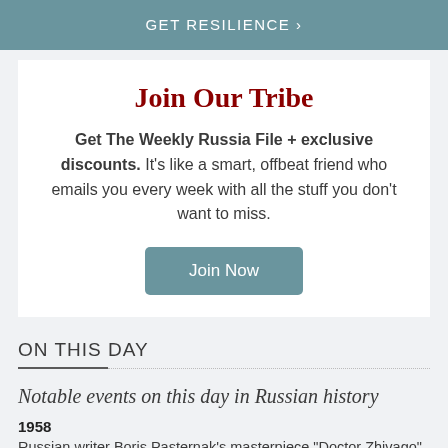GET RESILIENCE >
Join Our Tribe
Get The Weekly Russia File + exclusive discounts. It's like a smart, offbeat friend who emails you every week with all the stuff you don't want to miss.
Join Now
ON THIS DAY
Notable events on this day in Russian history
1958
Russian writer Boris Pasternak's masterpiece "Doctor Zhivago"